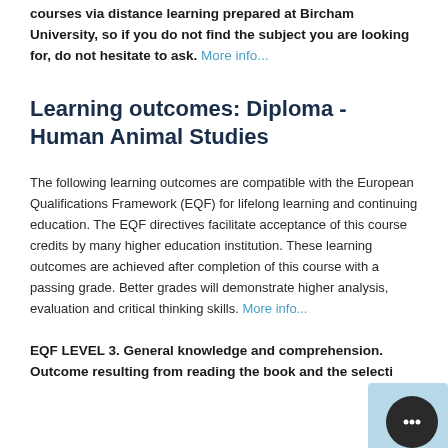courses via distance learning prepared at Bircham University, so if you do not find the subject you are looking for, do not hesitate to ask. More info...
Learning outcomes: Diploma - Human Animal Studies
The following learning outcomes are compatible with the European Qualifications Framework (EQF) for lifelong learning and continuing education. The EQF directives facilitate acceptance of this course credits by many higher education institution. These learning outcomes are achieved after completion of this course with a passing grade. Better grades will demonstrate higher analysis, evaluation and critical thinking skills. More info...
EQF LEVEL 3. General knowledge and comprehension. Outcome resulting from reading the book and the selection of the main concepts from the course content.